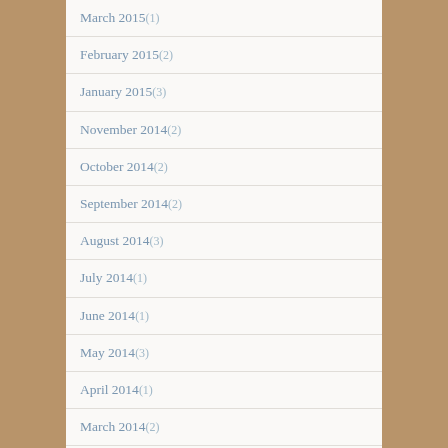March 2015 (1)
February 2015 (2)
January 2015 (3)
November 2014 (2)
October 2014 (2)
September 2014 (2)
August 2014 (3)
July 2014 (1)
June 2014 (1)
May 2014 (3)
April 2014 (1)
March 2014 (2)
February 2014 (2)